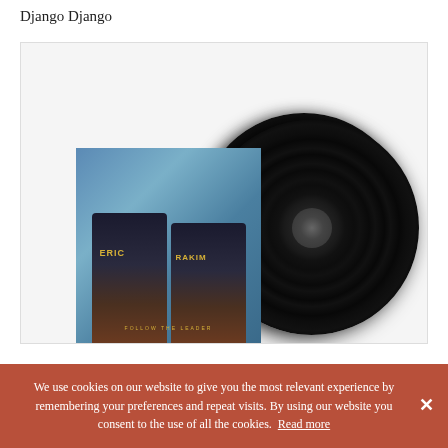Django Django
[Figure (photo): Album cover art showing two figures in black and gold jackets with 'ERIC' and 'RAKIM' on the back, against a blue sky background, displayed alongside two black vinyl records]
We use cookies on our website to give you the most relevant experience by remembering your preferences and repeat visits. By using our website you consent to the use of all the cookies.  Read more